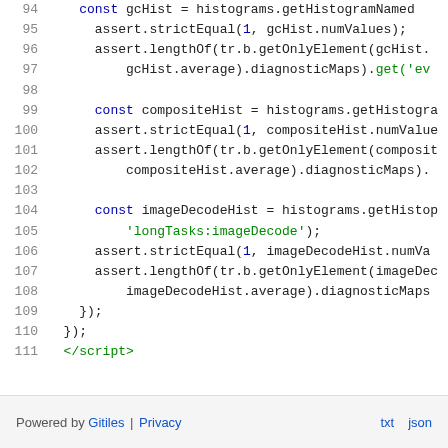[Figure (screenshot): Code viewer showing lines 94–111 of a JavaScript test file with syntax highlighting. Keywords 'const' in blue, strings in green, numeric literals in blue, closing tags in green.]
Powered by Gitiles | Privacy    txt  json